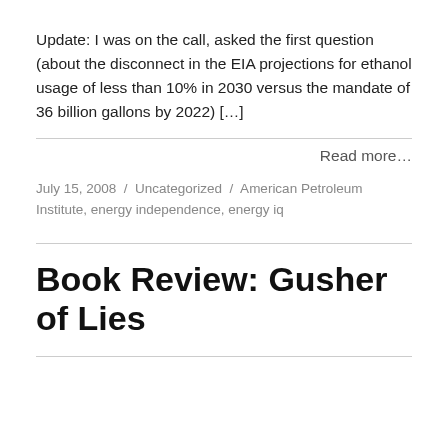Update: I was on the call, asked the first question (about the disconnect in the EIA projections for ethanol usage of less than 10% in 2030 versus the mandate of 36 billion gallons by 2022) […]
Read more…
July 15, 2008 / Uncategorized / American Petroleum Institute, energy independence, energy iq
Book Review: Gusher of Lies